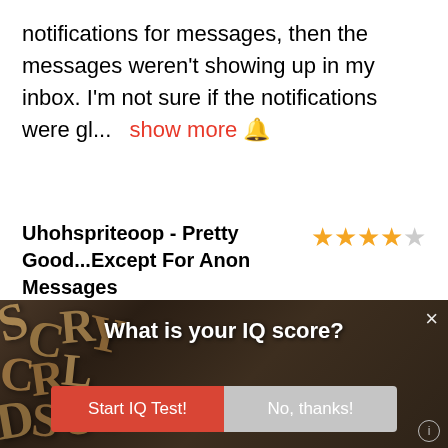notifications for messages, then the messages weren't showing up in my inbox. I'm not sure if the notifications were gl...   show more 🔔
Uhohspriteoop - Pretty Good...Except For Anon Messages ★★★★☆
[Figure (screenshot): Advertisement overlay showing a wooden letter tiles background with the text 'What is your IQ score?' and two buttons: 'Start IQ Test!' (red) and 'No, thanks!' (gray). A close X button is in the top right corner and an info icon in the bottom right.]